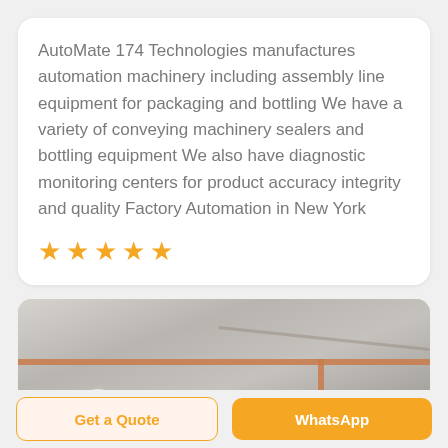AutoMate 174 Technologies manufactures automation machinery including assembly line equipment for packaging and bottling We have a variety of conveying machinery sealers and bottling equipment We also have diagnostic monitoring centers for product accuracy integrity and quality Factory Automation in New York
[Figure (photo): Interior factory/warehouse ceiling photo showing pipes, ducts, and overhead light fixture]
Get a Quote
WhatsApp